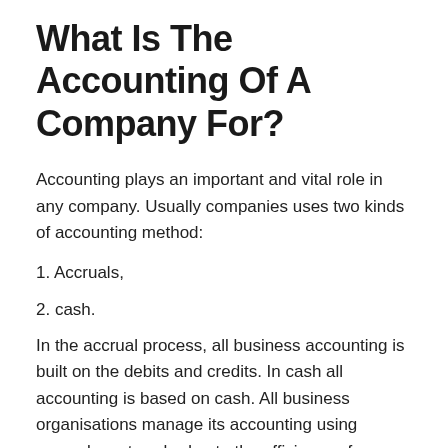What Is The Accounting Of A Company For?
Accounting plays an important and vital role in any company. Usually companies uses two kinds of accounting method:
1. Accruals,
2. cash.
In the accrual process, all business accounting is built on the debits and credits. In cash all accounting is based on cash. All business organisations manage its accounting using accruals, not cash, due to the efficiency of accruals accounting.
Small and big companies are required to keep their...